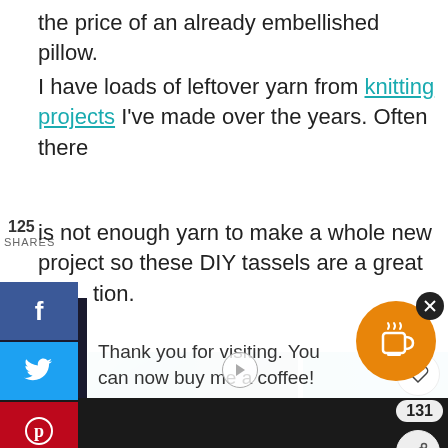the price of an already embellished pillow.
I have loads of leftover yarn from knitting projects I've made over the years. Often there is not enough yarn to make a whole new project so these DIY tassels are a great option.
[Figure (screenshot): Social sharing sidebar with Facebook, Twitter, Pinterest, and Mix buttons showing 125 shares]
[Figure (photo): Two photos of teal/blue decorative pillows on a sofa]
Thank you for visiting. You can now buy me a coffee!
[Figure (screenshot): What's Next overlay showing Throw Pillow Covers: 6... with thumbnail]